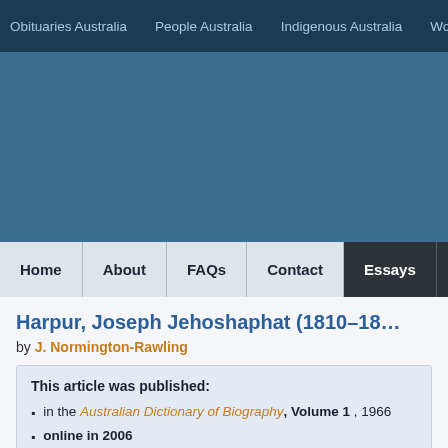Obituaries Australia | People Australia | Indigenous Australia | Wo...
[Figure (screenshot): Blue banner area for website header/advertisement space]
Home | About | FAQs | Contact | Essays | Adv...
Harpur, Joseph Jehoshaphat (1810–18...
by J. Normington-Rawling
This article was published:
in the Australian Dictionary of Biography, Volume 1, 1966
online in 2006